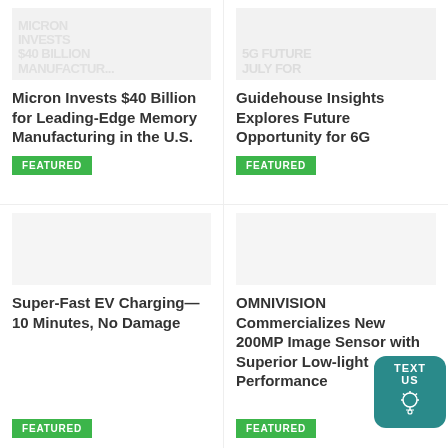[Figure (screenshot): Card image thumbnail with faded large text overlay (top-left article)]
Micron Invests $40 Billion for Leading-Edge Memory Manufacturing in the U.S.
FEATURED
[Figure (screenshot): Card image thumbnail with faded large text overlay (top-right article)]
Guidehouse Insights Explores Future Opportunity for 6G
FEATURED
[Figure (screenshot): Card image placeholder (bottom-left article)]
Super-Fast EV Charging—10 Minutes, No Damage
FEATURED
[Figure (screenshot): Card image placeholder (bottom-right article)]
OMNIVISION Commercializes New 200MP Image Sensor with Superior Low-light Performance
FEATURED
[Figure (other): TEXT US widget button in teal color with lightbulb icon]